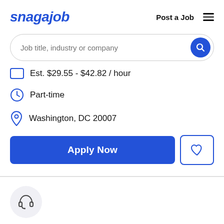[Figure (logo): Snagajob logo in bold italic blue text]
Post a Job
[Figure (other): Hamburger menu icon (three horizontal lines)]
[Figure (other): Search bar with placeholder text 'Job title, industry or company' and blue search button]
Est. $29.55 - $42.82 / hour
Part-time
Washington, DC 20007
[Figure (other): Apply Now button (blue) and heart/save button (outlined)]
[Figure (other): Headset/customer service icon in a light gray circle]